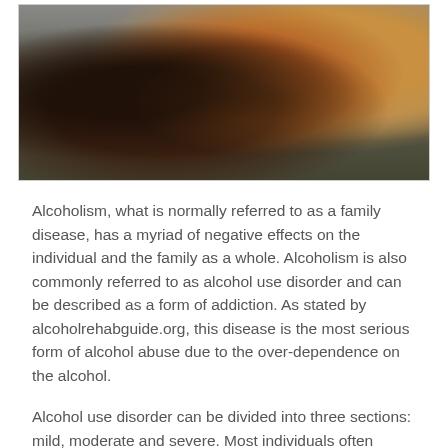[Figure (photo): A dark photograph showing a person holding a glass of beer/alcohol, with other glasses visible in the blurred background.]
Alcoholism, what is normally referred to as a family disease, has a myriad of negative effects on the individual and the family as a whole. Alcoholism is also commonly referred to as alcohol use disorder and can be described as a form of addiction. As stated by alcoholrehabguide.org, this disease is the most serious form of alcohol abuse due to the over-dependence on the alcohol.
Alcohol use disorder can be divided into three sections: mild, moderate and severe. Most individuals often graduate to severe alcohol use disorder if the disease is neglected and left untreated. Also, the longer a person drinks the alcohol, the more he or she is  likely to get addicted to it